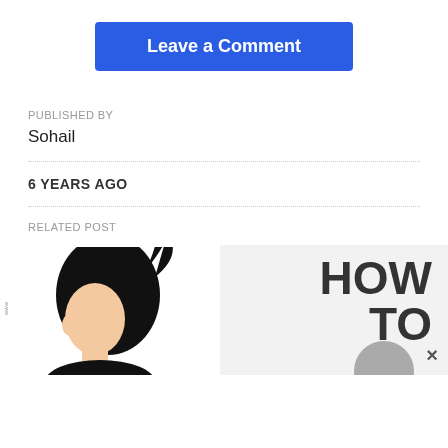Leave a Comment
PUBLISHED BY
Sohail
6 YEARS AGO
RELATED POST
[Figure (illustration): Illustration of a woman silhouette with black hair in a ponytail, showing side profile, skin-toned face/neck area. On the right side, bold text reads 'HOW TO' with a grey circle partially visible. A close (×) button is at the bottom right.]